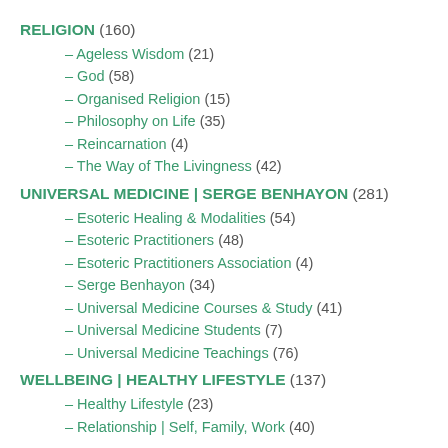RELIGION (160)
– Ageless Wisdom (21)
– God (58)
– Organised Religion (15)
– Philosophy on Life (35)
– Reincarnation (4)
– The Way of The Livingness (42)
UNIVERSAL MEDICINE | SERGE BENHAYON (281)
– Esoteric Healing & Modalities (54)
– Esoteric Practitioners (48)
– Esoteric Practitioners Association (4)
– Serge Benhayon (34)
– Universal Medicine Courses & Study (41)
– Universal Medicine Students (7)
– Universal Medicine Teachings (76)
WELLBEING | HEALTHY LIFESTYLE (137)
– Healthy Lifestyle (23)
– Relationship | Self, Family, Work (40)